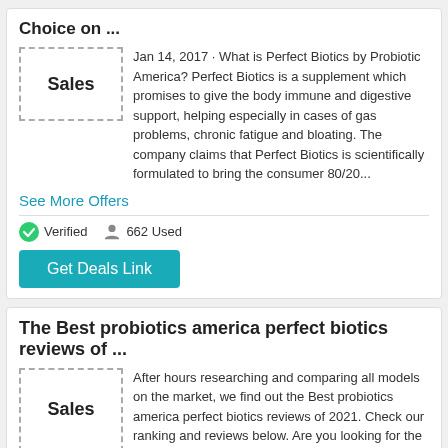Choice on ...
[Figure (illustration): Dashed border box with bold text 'Sales']
Jan 14, 2017 · What is Perfect Biotics by Probiotic America? Perfect Biotics is a supplement which promises to give the body immune and digestive support, helping especially in cases of gas problems, chronic fatigue and bloating. The company claims that Perfect Biotics is scientifically formulated to bring the consumer 80/20...
See More Offers
Verified   662 Used
Get Deals Link
The Best probiotics america perfect biotics reviews of ...
[Figure (illustration): Dashed border box with bold text 'Sales']
After hours researching and comparing all models on the market, we find out the Best probiotics america perfect biotics reviews of 2021. Check our ranking and reviews below. Are you looking for the probiotics america perfect biotics reviews of 2021? Romance University supports to analyzes, compares, reviews from consum...